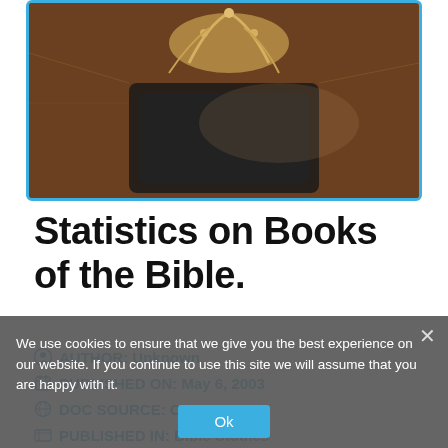[Figure (photo): Close-up photo of a Bible with decorative golden elements on a dark leather cover, slightly blurred background]
Statistics on Books of the Bible.
AUTHOR: Unknown
PUBLISHED ON: May 6, 2003
DOC SOURCE: CCN
PUBLISHED IN: Bible Studies
TAGS: books of the Bible
We use cookies to ensure that we give you the best experience on our website. If you continue to use this site we will assume that you are happy with it.